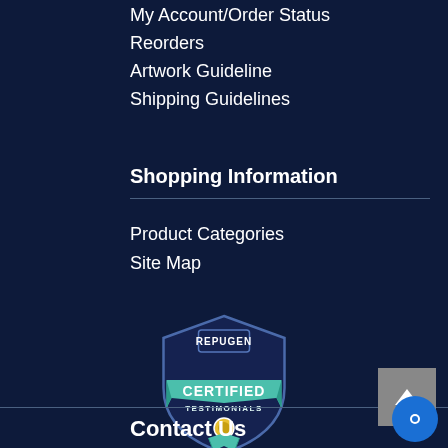My Account/Order Status
Reorders
Artwork Guideline
Shipping Guidelines
Shopping Information
Product Categories
Site Map
[Figure (logo): RepuGen Certified Testimonials badge — shield shape with teal banner reading CERTIFIED TESTIMONIALS and REPUGEN at top]
Based on 273 reviews on RepuGen
4.8 ★★★★★½
Contact Us